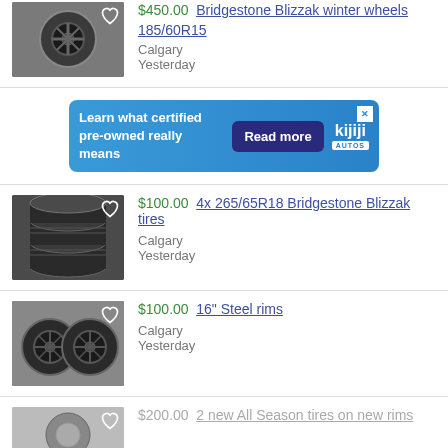[Figure (photo): Steel wheel/rim photo, partial listing for Bridgestone Blizzak winter wheels]
$450.00 Bridgestone Blizzak winter wheels
185/60R15
Calgary
Yesterday
[Figure (photo): Kijiji Autos advertisement banner: Learn what certified pre-owned really means. Read more.]
[Figure (photo): Stack of Bridgestone Blizzak tires listing photo]
$100.00 4x 265/65R18 Bridgestone Blizzak tires
Calgary
Yesterday
[Figure (photo): 16 inch steel rims listing photo]
$100.00 16" Steel rims
Calgary
Yesterday
[Figure (photo): Partial listing photo for All Season tires on new rims]
$200.00 2 new All Season tires on new rims